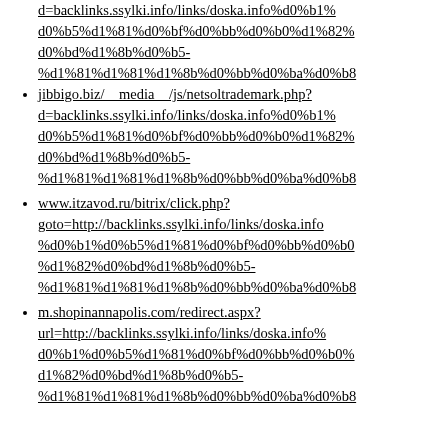d=backlinks.ssylki.info/links/doska.info%d0%b1%d0%b5%d1%81%d0%bf%d0%bb%d0%b0%d1%82%d0%bd%d1%8b%d0%b5-%d1%81%d1%81%d1%8b%d0%bb%d0%ba%d0%b8 (truncated top)
jibbigo.biz/__media__/js/netsoltrademark.php?d=backlinks.ssylki.info/links/doska.info%d0%b1%d0%b5%d1%81%d0%bf%d0%bb%d0%b0%d1%82%d0%bd%d1%8b%d0%b5-%d1%81%d1%81%d1%8b%d0%bb%d0%ba%d0%b8
www.itzavod.ru/bitrix/click.php?goto=http://backlinks.ssylki.info/links/doska.info%d0%b1%d0%b5%d1%81%d0%bf%d0%bb%d0%b0%d1%82%d0%bd%d1%8b%d0%b5-%d1%81%d1%81%d1%8b%d0%bb%d0%ba%d0%b8
m.shopinannapolis.com/redirect.aspx?url=http://backlinks.ssylki.info/links/doska.info%d0%b1%d0%b5%d1%81%d0%bf%d0%bb%d0%b0%d1%82%d0%bd%d1%8b%d0%b5-%d1%81%d1%81%d1%8b%d0%bb%d0%ba%d0%b8 (truncated bottom)